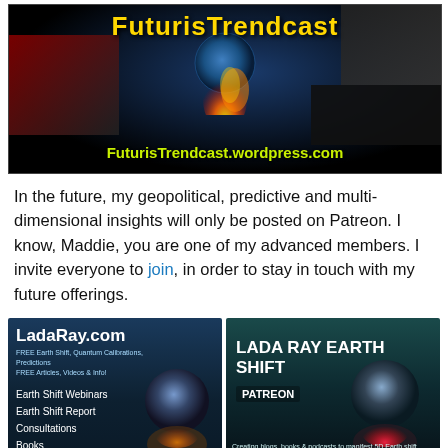[Figure (illustration): FuturisTrendcast banner image with yellow title text, globe on fire, political imagery collage, and website URL FuturisTrendcast.wordpress.com in yellow-green text]
In the future, my geopolitical, predictive and multi-dimensional insights will only be posted on Patreon. I know, Maddie, you are one of my advanced members. I invite everyone to join, in order to stay in touch with my future offerings.
[Figure (illustration): LadaRay.com banner: dark blue background with globe held in hand, text listing FREE Earth Shift, Quantum Calibrations, Predictions, FREE Articles, Videos & Info, Earth Shift Webinars, Earth Shift Report, Consultations, Books]
[Figure (illustration): LADA RAY EARTH SHIFT PATREON banner: dark teal background with glowing globe held in hand, text Creating blogs, books & podcasts to manifest 5D Earth shift]